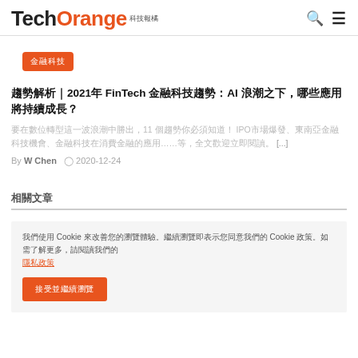TechOrange 科技報橘
金融科技
趨勢解析｜2021年 FinTech 金融科技趨勢：AI 浪潮之下，哪些應用將持續成長？
要在數位轉型這一波浪潮中勝出，11 個趨勢你必須知道！ IPO市場爆發、東南亞金融科技機會、金融科技在消費金融的應用……等 […]
By W Chen  2020-12-24
相關文章
我們使用 Cookie 來改善您的瀏覽體驗。繼續瀏覽即表示您同意我們的 隱私政策
接受並繼續瀏覽